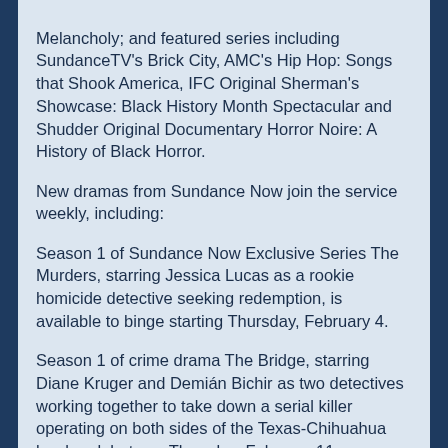Melancholy; and featured series including SundanceTV's Brick City, AMC's Hip Hop: Songs that Shook America, IFC Original Sherman's Showcase: Black History Month Spectacular and Shudder Original Documentary Horror Noire: A History of Black Horror.
New dramas from Sundance Now join the service weekly, including:
Season 1 of Sundance Now Exclusive Series The Murders, starring Jessica Lucas as a rookie homicide detective seeking redemption, is available to binge starting Thursday, February 4.
Season 1 of crime drama The Bridge, starring Diane Kruger and Demián Bichir as two detectives working together to take down a serial killer operating on both sides of the Texas-Chihuahua border, debuts on Thursday, February 11.
Season 2 of Sundance Now Exclusive Series Playing for Keeps, centered on the titillating lives of the wives and